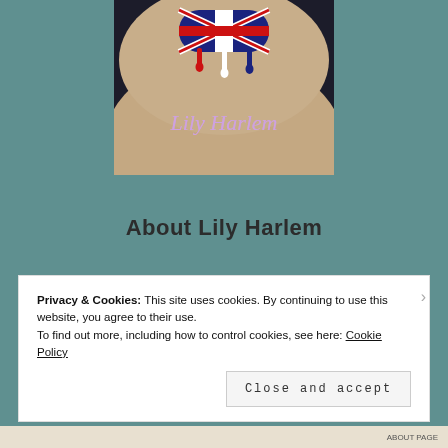[Figure (illustration): Banner image showing a person's chin/neck area with lips painted with the UK flag (Union Jack) dripping red, white, and blue paint. The text 'Lily Harlem' is written in cursive script across the neck/chin area. Dark moody background.]
About Lily Harlem
Privacy & Cookies: This site uses cookies. By continuing to use this website, you agree to their use.
To find out more, including how to control cookies, see here: Cookie Policy
Close and accept